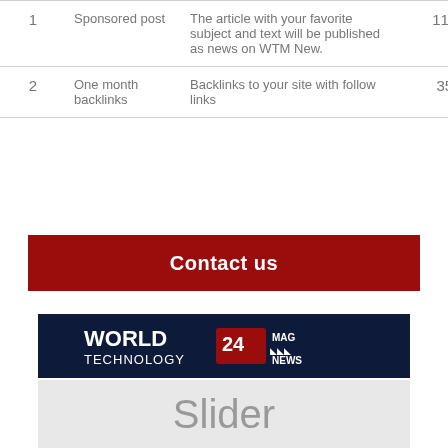| # | Type | Description | Price |
| --- | --- | --- | --- |
| 1 | Sponsored post | The article with your favorite subject and text will be published as news on WTM New. | 110 $ |
| 2 | One month backlinks | Backlinks to your site with follow links | 35 $ |
Contact us
[Figure (logo): World Technology 24 Mag News logo on dark navy background]
[Figure (other): Slider placeholder area with light gray background]